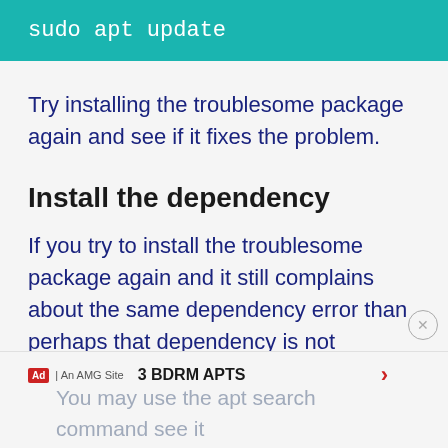[Figure (screenshot): Teal/turquoise code block showing terminal command: sudo apt update]
Try installing the troublesome package again and see if it fixes the problem.
Install the dependency
If you try to install the troublesome package again and it still complains about the same dependency error than perhaps that dependency is not available for distribution version.
You may use the apt search command see it
[Figure (other): Advertisement banner: 3 BDRM APTS with right arrow, Ad label and An AMG Site text]